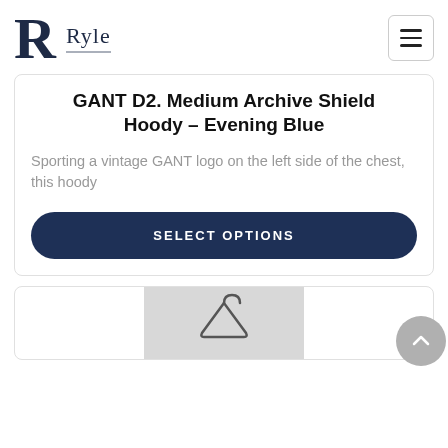Ryle
GANT D2. Medium Archive Shield Hoody – Evening Blue
Sporting a vintage GANT logo on the left side of the chest, this hoody
SELECT OPTIONS
[Figure (photo): Bottom of a second product card showing a clothes hanger on a gray background]